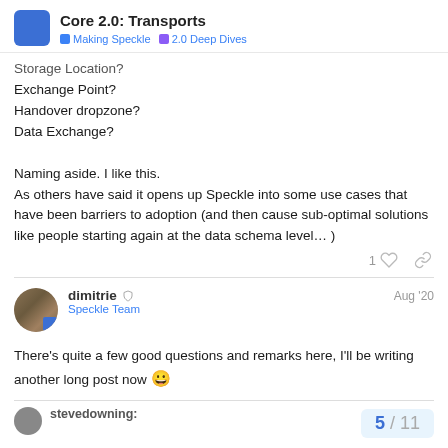Core 2.0: Transports | Making Speckle | 2.0 Deep Dives
Storage Location?
Exchange Point?
Handover dropzone?
Data Exchange?
Naming aside. I like this.
As others have said it opens up Speckle into some use cases that have been barriers to adoption (and then cause sub-optimal solutions like people starting again at the data schema level… )
dimitrie  |  Speckle Team  |  Aug '20
There's quite a few good questions and remarks here, I'll be writing another long post now 😀
stevedowning:
5 / 11